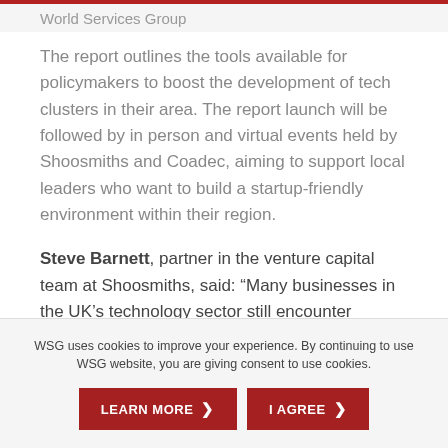World Services Group
The report outlines the tools available for policymakers to boost the development of tech clusters in their area. The report launch will be followed by in person and virtual events held by Shoosmiths and Coadec, aiming to support local leaders who want to build a startup-friendly environment within their region.
Steve Barnett, partner in the venture capital team at Shoosmiths, said: “Many businesses in the UK’s technology sector still encounter barriers to scaling up – but location shouldn’t be one of them. Partnering with Coadec to provide insight
WSG uses cookies to improve your experience. By continuing to use WSG website, you are giving consent to use cookies.
LEARN MORE
I AGREE